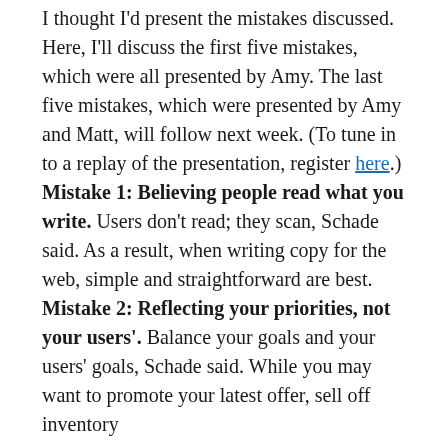I thought I'd present the mistakes discussed. Here, I'll discuss the first five mistakes, which were all presented by Amy. The last five mistakes, which were presented by Amy and Matt, will follow next week. (To tune in to a replay of the presentation, register here.)
Mistake 1: Believing people read what you write. Users don't read; they scan, Schade said. As a result, when writing copy for the web, simple and straightforward are best.
Mistake 2: Reflecting your priorities, not your users'. Balance your goals and your users' goals, Schade said. While you may want to promote your latest offer, sell off inventory